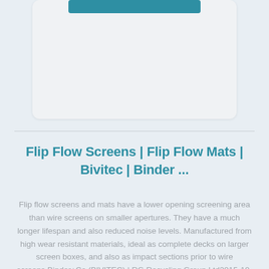[Figure (screenshot): Top card UI element with a blue/teal bar near the top, showing a rounded card with light gray background]
Flip Flow Screens | Flip Flow Mats | Bivitec | Binder ...
Flip flow screens and mats have a lower opening screening area than wire screens on smaller apertures. They have a much longer lifespan and also reduced noise levels. Manufactured from high wear resistant materials, ideal as complete decks on larger screen boxes, and also as impact sections prior to wire screens.Binder+Co (BIVITEC) | RG Recycling Group Ltd2015-10-16 · Click here to see Binder+co product lines